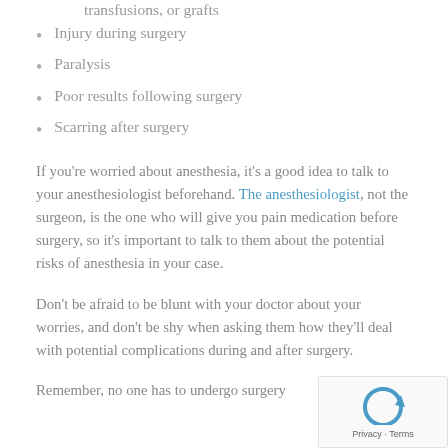transfusions, or grafts
Injury during surgery
Paralysis
Poor results following surgery
Scarring after surgery
If you're worried about anesthesia, it's a good idea to talk to your anesthesiologist beforehand. The anesthesiologist, not the surgeon, is the one who will give you pain medication before surgery, so it's important to talk to them about the potential risks of anesthesia in your case.
Don't be afraid to be blunt with your doctor about your worries, and don't be shy when asking them how they'll deal with potential complications during and after surgery.
Remember, no one has to undergo surgery